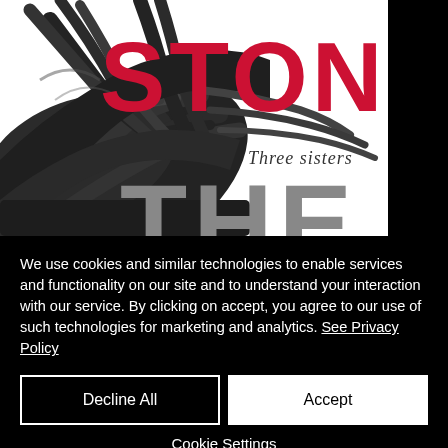[Figure (illustration): Book cover image showing black feathers/wings against white background with the word STONE in large red bold text, subtitle 'Three sisters' in italic, and THE in large grey bold text below. Right edge is black.]
We use cookies and similar technologies to enable services and functionality on our site and to understand your interaction with our service. By clicking on accept, you agree to our use of such technologies for marketing and analytics. See Privacy Policy
Decline All
Accept
Cookie Settings